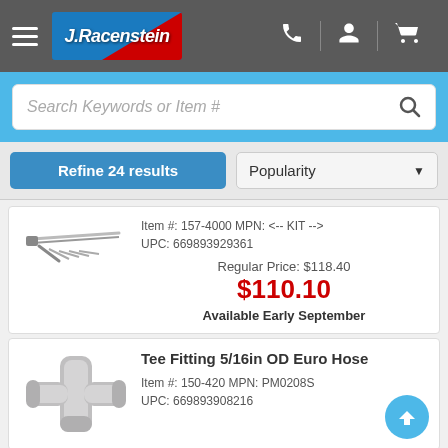[Figure (screenshot): J.Racenstein website navigation bar with hamburger menu, logo, phone, account, and cart icons on dark grey background]
[Figure (screenshot): Search bar with placeholder text 'Search Keywords or Item #' and magnifying glass icon on blue background]
[Figure (screenshot): Refine 24 results button and Popularity sort dropdown]
Item #: 157-4000 MPN: <-- KIT -->
UPC: 669893929361
Regular Price: $118.40
$110.10
Available Early September
Tee Fitting 5/16in OD Euro Hose
Item #: 150-420 MPN: PM0208S
UPC: 669893908216